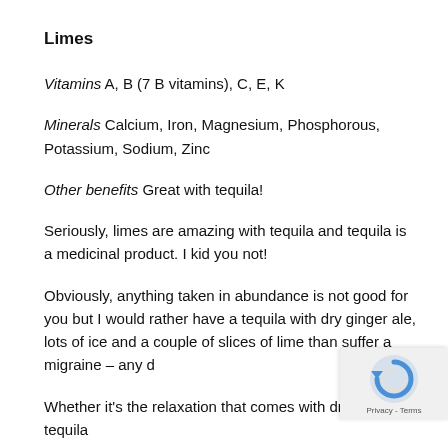Limes
Vitamins A, B (7 B vitamins), C, E, K
Minerals Calcium, Iron, Magnesium, Phosphorous, Potassium, Sodium, Zinc
Other benefits Great with tequila!
Seriously, limes are amazing with tequila and tequila is a medicinal product. I kid you not!
Obviously, anything taken in abundance is not good for you but I would rather have a tequila with dry ginger ale, lots of ice and a couple of slices of lime than suffer a migraine – any d
Whether it's the relaxation that comes with drinking a tequila